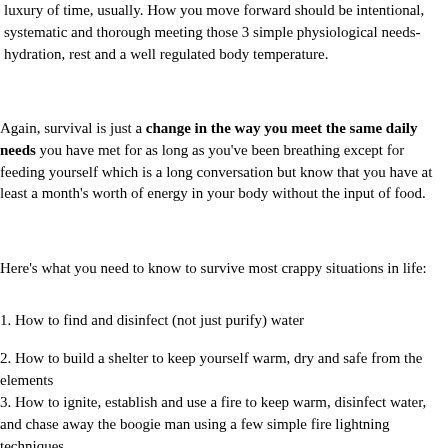luxury of time, usually. How you move forward should be intentional, systematic and thorough meeting those 3 simple physiological needs- hydration, rest and a well regulated body temperature.
Again, survival is just a change in the way you meet the same daily needs you have met for as long as you've been breathing except for feeding yourself which is a long conversation but know that you have at least a month's worth of energy in your body without the input of food.
Here's what you need to know to survive most crappy situations in life:
1. How to find and disinfect (not just purify) water
2. How to build a shelter to keep yourself warm, dry and safe from the elements
3.  How to ignite, establish and use a fire to keep warm, disinfect water, and chase away the boogie man using a few simple fire lightning techniques